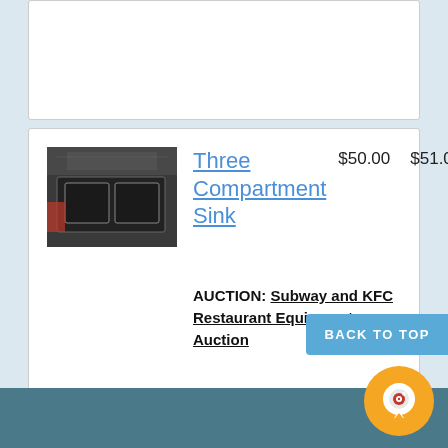[Figure (screenshot): Top partial listing card, cut off at top]
| [image: Three Compartment Sink] | Three Compartment Sink
AUCTION: Subway and KFC Restaurant Equipment Auction | $50.00 | $51.00 | 9d 21h 15m |
BACK TO TOP
[Figure (illustration): Orange circular chat/support button with camera icon]